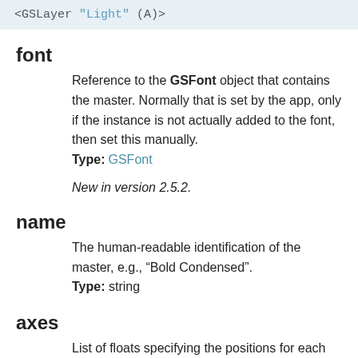[Figure (screenshot): Code block showing: <GSLayer "Light" (A)>]
font
Reference to the GSFont object that contains the master. Normally that is set by the app, only if the instance is not actually added to the font, then set this manually. Type: GSFont
New in version 2.5.2.
name
The human-readable identification of the master, e.g., “Bold Condensed”. Type: string
axes
List of floats specifying the positions for each axis